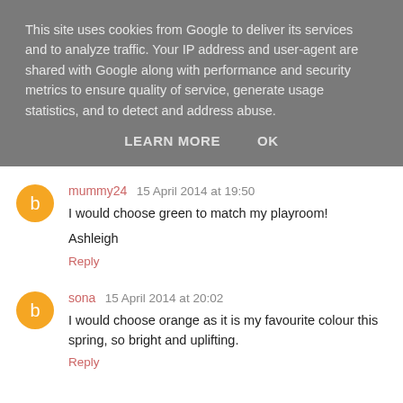This site uses cookies from Google to deliver its services and to analyze traffic. Your IP address and user-agent are shared with Google along with performance and security metrics to ensure quality of service, generate usage statistics, and to detect and address abuse.
LEARN MORE   OK
mummy24  15 April 2014 at 19:50
I would choose green to match my playroom!

Ashleigh

Reply
sona  15 April 2014 at 20:02
I would choose orange as it is my favourite colour this spring, so bright and uplifting.

Reply